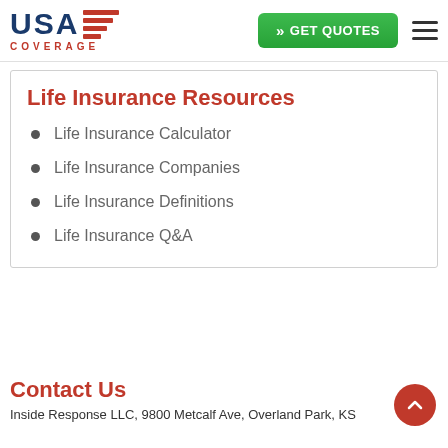[Figure (logo): USA Coverage logo with red stripes and red COVERAGE text]
[Figure (other): Green GET QUOTES button with double chevron]
[Figure (other): Hamburger menu icon]
Life Insurance Resources
Life Insurance Calculator
Life Insurance Companies
Life Insurance Definitions
Life Insurance Q&A
Contact Us
Inside Response LLC, 9800 Metcalf Ave, Overland Park, KS